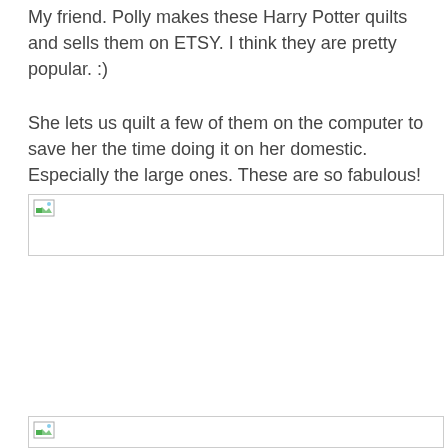My friend. Polly makes these Harry Potter quilts and sells them on ETSY. I think they are pretty popular. :)
She lets us quilt a few of them on the computer to save her the time doing it on her domestic. Especially the large ones. These are so fabulous!
[Figure (photo): Broken/missing image placeholder (image failed to load), shown as a small icon with a border]
[Figure (photo): Broken/missing image placeholder (image failed to load), shown as a small icon with a border, partial view at bottom of page]